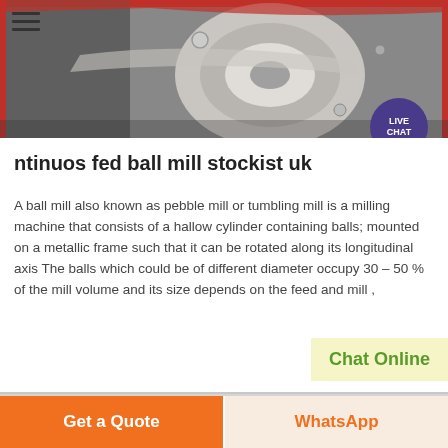[Figure (photo): Close-up photo of industrial ball mill machinery components with red and grey metallic parts]
ntinuos fed ball mill stockist uk
A ball mill also known as pebble mill or tumbling mill is a milling machine that consists of a hallow cylinder containing balls; mounted on a metallic frame such that it can be rotated along its longitudinal axis The balls which could be of different diameter occupy 30 – 50 % of the mill volume and its size depends on the feed and mill ,
Chat Online
Get a Quote
WhatsApp